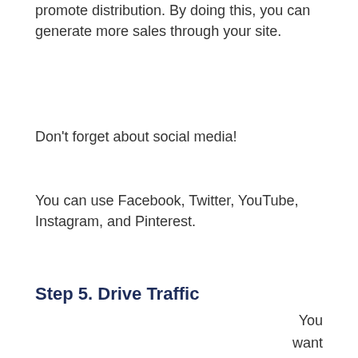promote distribution. By doing this, you can generate more sales through your site.
Don't forget about social media!
You can use Facebook, Twitter, YouTube, Instagram, and Pinterest.
Step 5. Drive Traffic
You want to